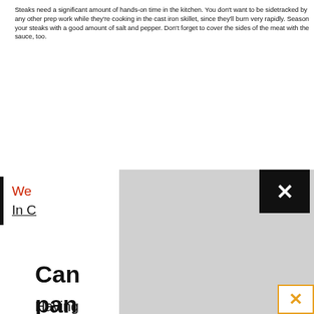Steaks need a significant amount of hands-on time in the kitchen. You don't want to be sidetracked by any other prep work while they're cooking in the cast iron skillet, since they'll burn very rapidly. Season your steaks with a good amount of salt and pepper. Don't forget to cover the sides of the meat with the sauce, too.
We [partially obscured] Steak
In C[partially obscured]
Can[partially obscured]ular pan[partially obscured]
Having[partially obscured]ble? No proble[partially obscured]g a
[Figure (screenshot): A modal/popup overlay with a gray rectangle covering the center of the page, with a black close button (×) in the upper right of the modal, and an orange × button in the lower right corner of the visible page area.]